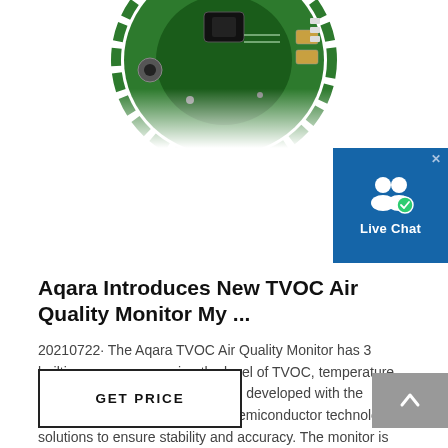[Figure (photo): Green circular PCB circuit board with sensors, viewed from above, partially cropped at top of page]
[Figure (screenshot): Blue Live Chat button widget with user icon and checkmark badge, with an X close button in the corner]
Aqara Introduces New TVOC Air Quality Monitor My ...
20210722· The Aqara TVOC Air Quality Monitor has 3 builtin sensors measuring the level of TVOC, temperature and humidity, and all sensors are developed with the advanced electrochemical and semiconductor technology solutions to ensure stability and accuracy. The monitor is also equipped with a dotmatrix E Ink screen, which is similar to paper and has a very high contrast. The power ...
[Figure (screenshot): GET PRICE button with black border]
[Figure (screenshot): Gray scroll-to-top button with upward chevron arrow]